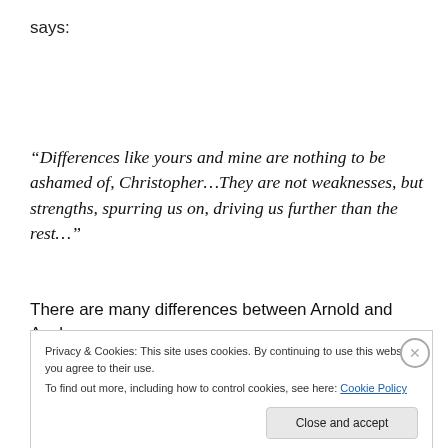says:
“Differences like yours and mine are nothing to be ashamed of, Christopher…They are not weaknesses, but strengths, spurring us on, driving us further than the rest…”
There are many differences between Arnold and Azalea.
Privacy & Cookies: This site uses cookies. By continuing to use this website, you agree to their use.
To find out more, including how to control cookies, see here: Cookie Policy
Close and accept